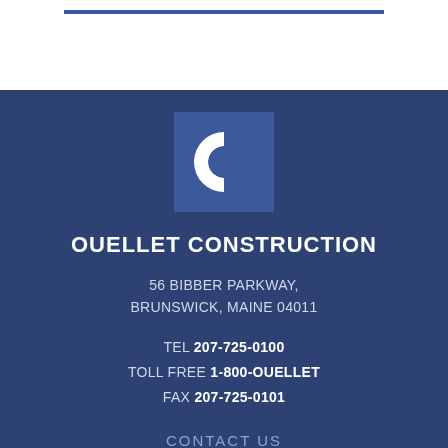[Figure (logo): Blue horizontal bar/line at top of page, partial header element]
[Figure (logo): Ouellet Construction logo: blue square with white C letter icon]
OUELLET CONSTRUCTION
56 BIBBER PARKWAY, BRUNSWICK, MAINE 04011
TEL 207-725-0100 TOLL FREE 1-800-OUELLET FAX 207-725-0101
CONTACT US